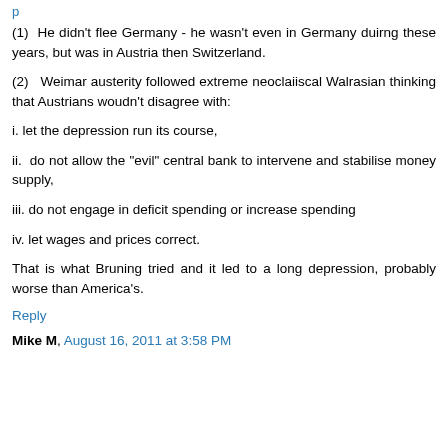(1) He didn't flee Germany - he wasn't even in Germany duirng these years, but was in Austria then Switzerland.
(2) Weimar austerity followed extreme neoclaiiscal Walrasian thinking that Austrians woudn't disagree with:
i. let the depression run its course,
ii. do not allow the "evil" central bank to intervene and stabilise money supply,
iii. do not engage in deficit spending or increase spending
iv. let wages and prices correct.
That is what Bruning tried and it led to a long depression, probably worse than America's.
Reply
Mike M, August 16, 2011 at 3:58 PM